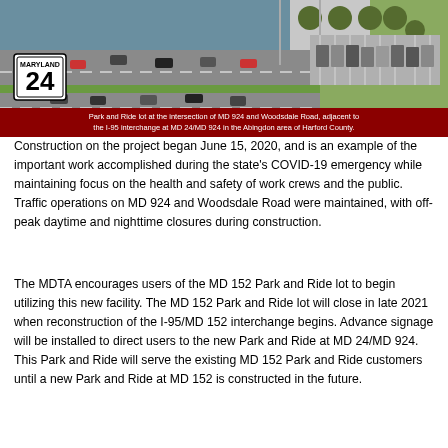[Figure (photo): Aerial photo of a Park and Ride lot at the intersection of MD 924 and Woodsdale Road, adjacent to the I-95 interchange at MD 24/MD 924 in the Abingdon area of Harford County. A Maryland Route 24 highway sign is visible in the foreground. Multiple lanes of traffic and a large parking lot with vehicles are visible.]
Park and Ride lot at the intersection of MD 924 and Woodsdale Road, adjacent to the I-95 interchange at MD 24/MD 924 in the Abingdon area of Harford County.
Construction on the project began June 15, 2020, and is an example of the important work accomplished during the state’s COVID-19 emergency while maintaining focus on the health and safety of work crews and the public. Traffic operations on MD 924 and Woodsdale Road were maintained, with off-peak daytime and nighttime closures during construction.
The MDTA encourages users of the MD 152 Park and Ride lot to begin utilizing this new facility. The MD 152 Park and Ride lot will close in late 2021 when reconstruction of the I-95/MD 152 interchange begins. Advance signage will be installed to direct users to the new Park and Ride at MD 24/MD 924. This Park and Ride will serve the existing MD 152 Park and Ride customers until a new Park and Ride at MD 152 is constructed in the future.